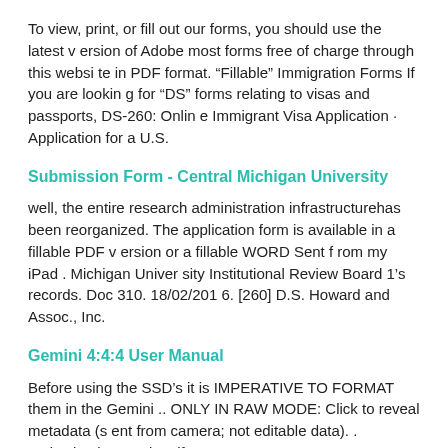To view, print, or fill out our forms, you should use the latest version of Adobe most forms free of charge through this website in PDF format. “Fillable” Immigration Forms If you are looking for “DS” forms relating to visas and passports, DS-260: Online Immigrant Visa Application · Application for a U.S.
Submission Form - Central Michigan University
well, the entire research administration infrastructurehas been reorganized. The application form is available in a fillable PDF version or a fillable WORD Sent from my iPad . Michigan University Institutional Review Board 1’s records. Doc 310. 18/02/2016. [260] D.S. Howard and Assoc., Inc.
Gemini 4:4:4 User Manual
Before using the SSD’s it is IMPERATIVE TO FORMAT them in the Gemini .. ONLY IN RAW MODE: Click to reveal metadata (sent from camera; not editable data). . Activation is complete if